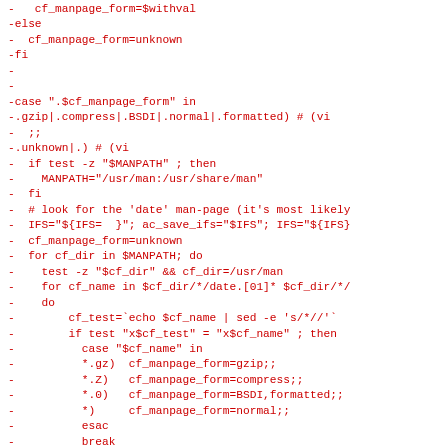-   cf_manpage_form=$withval
-else
-  cf_manpage_form=unknown
-fi
-
-
-case ".$cf_manpage_form" in
-.gzip|.compress|.BSDI|.normal|.formatted) # (vi
-  ;;
-.unknown|.) # (vi
-  if test -z "$MANPATH" ; then
-    MANPATH="/usr/man:/usr/share/man"
-  fi
-  # look for the 'date' man-page (it's most likely
-  IFS="${IFS=  }"; ac_save_ifs="$IFS"; IFS="${IFS}
-  cf_manpage_form=unknown
-  for cf_dir in $MANPATH; do
-    test -z "$cf_dir" && cf_dir=/usr/man
-    for cf_name in $cf_dir/*/date.[01]* $cf_dir/*/
-    do
-        cf_test=`echo $cf_name | sed -e 's/*//'`
-        if test "x$cf_test" = "x$cf_name" ; then
-          case "$cf_name" in
-          *.gz)  cf_manpage_form=gzip;;
-          *.Z)   cf_manpage_form=compress;;
-          *.0)   cf_manpage_form=BSDI,formatted;;
-          *)     cf_manpage_form=normal;;
-          esac
-          break
-      fi
-    done